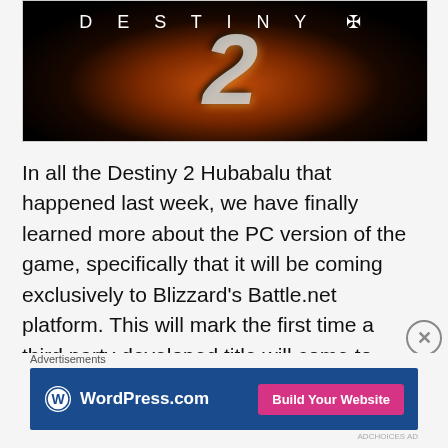[Figure (screenshot): Destiny 2 game promotional image with large stylized '2' numeral over a dark fiery background, with 'DESTINY 2' text and logo at top]
In all the Destiny 2 Hubabalu that happened last week, we have finally learned more about the PC version of the game, specifically that it will be coming exclusively to Blizzard's Battle.net platform. This will mark the first time a third party developed title will come to what has always been
Advertisements
[Figure (screenshot): WordPress.com advertisement banner with navy blue background, WordPress logo and text 'WordPress.com' on left, and pink 'Build Your Website' button on right]